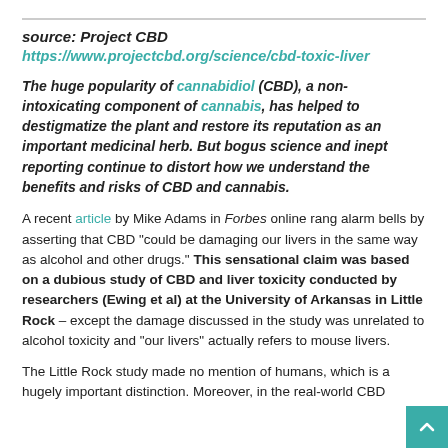source: Project CBD
https://www.projectcbd.org/science/cbd-toxic-liver
The huge popularity of cannabidiol (CBD), a non-intoxicating component of cannabis, has helped to destigmatize the plant and restore its reputation as an important medicinal herb. But bogus science and inept reporting continue to distort how we understand the benefits and risks of CBD and cannabis.
A recent article by Mike Adams in Forbes online rang alarm bells by asserting that CBD “could be damaging our livers in the same way as alcohol and other drugs.” This sensational claim was based on a dubious study of CBD and liver toxicity conducted by researchers (Ewing et al) at the University of Arkansas in Little Rock – except the damage discussed in the study was unrelated to alcohol toxicity and “our livers” actually refers to mouse livers.
The Little Rock study made no mention of humans, which is a hugely important distinction. Moreover, in the real-world CBD